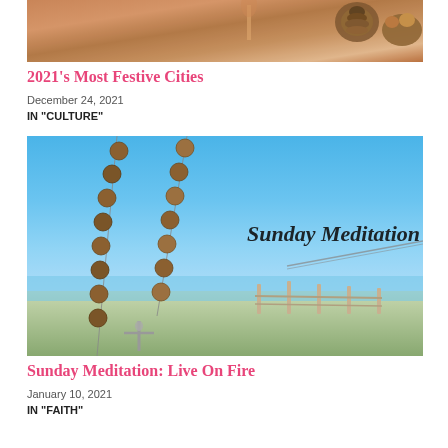[Figure (photo): Festive table setting with pinecone and holiday decorations]
2021's Most Festive Cities
December 24, 2021
IN "CULTURE"
[Figure (photo): Rosary beads with crucifix against blue sky background with text 'Sunday Meditation']
Sunday Meditation: Live On Fire
January 10, 2021
IN "FAITH"